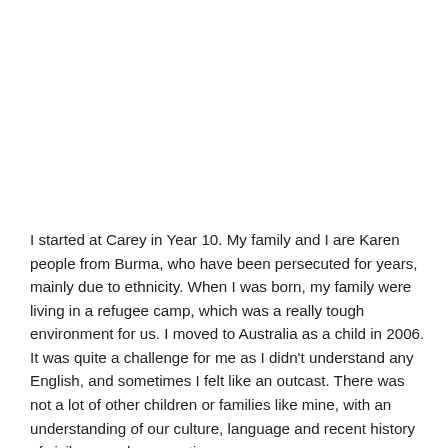I started at Carey in Year 10. My family and I are Karen people from Burma, who have been persecuted for years, mainly due to ethnicity. When I was born, my family were living in a refugee camp, which was a really tough environment for us. I moved to Australia as a child in 2006. It was quite a challenge for me as I didn't understand any English, and sometimes I felt like an outcast. There was not a lot of other children or families like mine, with an understanding of our culture, language and recent history of civil war and persecution.